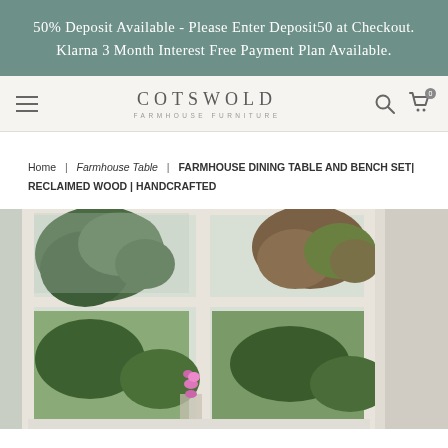50% Deposit Available - Please Enter Deposit50 at Checkout. Klarna 3 Month Interest Free Payment Plan Available.
COTSWOLD FARMHOUSE FURNITURE
Home | Farmhouse Table | FARMHOUSE DINING TABLE AND BENCH SET| RECLAIMED WOOD | HANDCRAFTED
[Figure (photo): View through white-framed sash windows looking out onto green trees and garden, with pink orchid flowers on the windowsill]